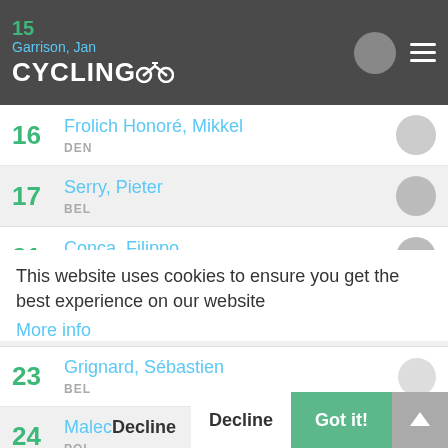15 Garrison, Jan — CYCLINGOO header
16 Frolich Honoré, Mikkel — DEN
17 Serry, Pieter — BEL
21 Conca, Filippo — ITA
22 Goossens, Kobe
23 Grignard, Sébastien — BEL
24 Malec... — POL
This website uses cookies to ensure you get the best experience on our website
More info
Decline
Got it!